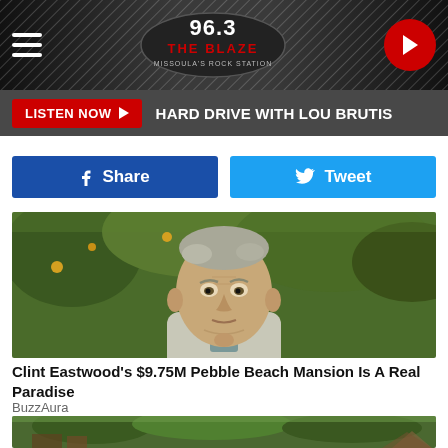96.3 The Blaze – Missoula's Rock Station
LISTEN NOW ▶  HARD DRIVE WITH LOU BRUTIS
[Figure (screenshot): Facebook Share button and Twitter Tweet button side by side]
[Figure (photo): Close-up portrait of an elderly man in a grey knit cardigan against green foliage background]
Clint Eastwood's $9.75M Pebble Beach Mansion Is A Real Paradise
BuzzAura
[Figure (photo): Outdoor scene with trees and rustic structures]